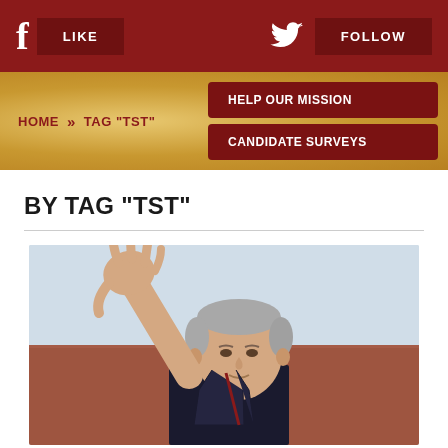f LIKE [twitter] FOLLOW
HOME » TAG "TST" | HELP OUR MISSION | CANDIDATE SURVEYS
BY TAG "TST"
[Figure (photo): An elderly man with grey hair waving his right hand raised, wearing a dark suit, photographed outdoors with a blurred reddish-brown building and pale blue sky in the background.]